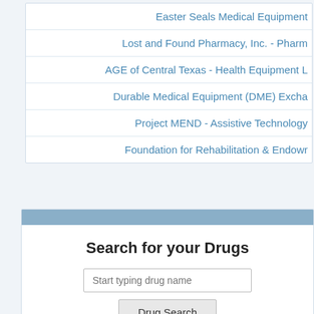Easter Seals Medical Equipment
Lost and Found Pharmacy, Inc. - Pharm
AGE of Central Texas - Health Equipment L
Durable Medical Equipment (DME) Excha
Project MEND - Assistive Technology
Foundation for Rehabilitation & Endowm
Search for your Drugs
Start typing drug name
Drug Search